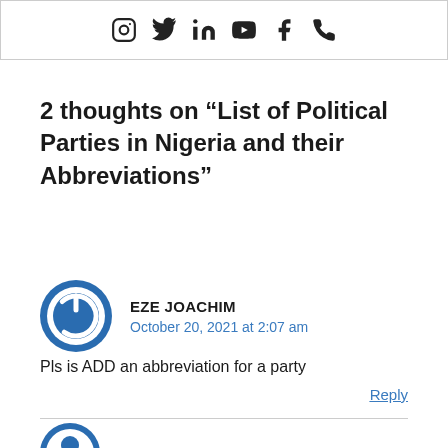[Figure (other): Social media icons: Instagram, Twitter, LinkedIn, YouTube, Facebook, Phone]
2 thoughts on “List of Political Parties in Nigeria and their Abbreviations”
EZE JOACHIM
October 20, 2021 at 2:07 am
Pls is ADD an abbreviation for a party
Reply
JOACHIM